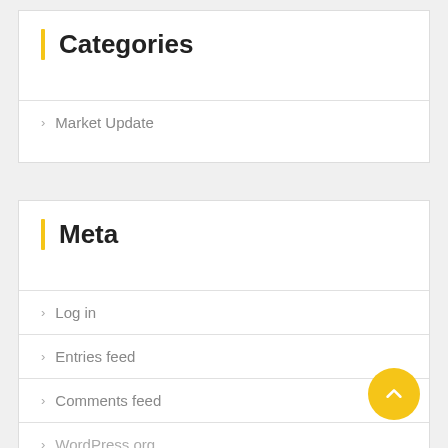Categories
Market Update
Meta
Log in
Entries feed
Comments feed
WordPress.org